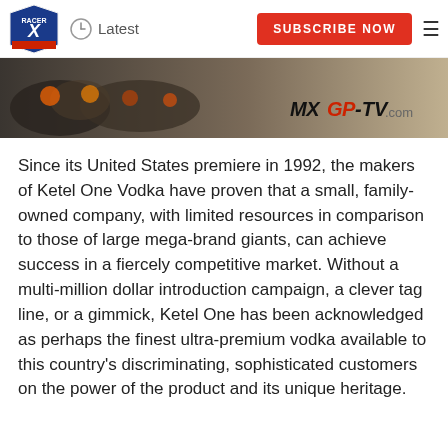Latest | SUBSCRIBE NOW
[Figure (photo): Banner image of motocross riders racing, with MXGP-TV.com logo overlay]
Since its United States premiere in 1992, the makers of Ketel One Vodka have proven that a small, family-owned company, with limited resources in comparison to those of large mega-brand giants, can achieve success in a fiercely competitive market. Without a multi-million dollar introduction campaign, a clever tag line, or a gimmick, Ketel One has been acknowledged as perhaps the finest ultra-premium vodka available to this country's discriminating, sophisticated customers on the power of the product and its unique heritage.